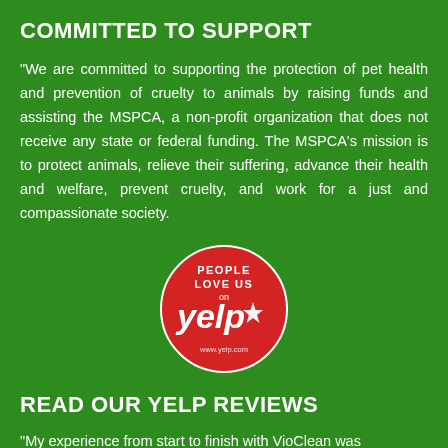COMMITTED TO SUPPORT
"We are committed to supporting the protection of pet health and prevention of cruelty to animals by raising funds and assisting the MSPCA, a non-profit organization that does not receive any state or federal funding. The MSPCA’s mission is to protect animals, relieve their suffering, advance their health and welfare, prevent cruelty, and work for a just and compassionate society.
[Figure (logo): Yelp badge with red circle reading 'PEOPLE LOVE US ON yelp' with Yelp logo and burst star design]
READ OUR YELP REVIEWS
"My experience from start to finish with VioClean was amazing...